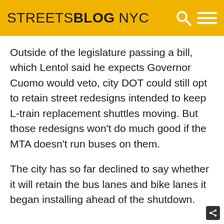STREETSBLOG NYC
Outside of the legislature passing a bill, which Lentol said he expects Governor Cuomo would veto, city DOT could still opt to retain street redesigns intended to keep L-train replacement shuttles moving. But those redesigns won't do much good if the MTA doesn't run buses on them.
The city has so far declined to say whether it will retain the bus lanes and bike lanes it began installing ahead of the shutdown.
Filed Under: Carolyn Maloney, Joe Lentol, L Train Shutdown, MTA, Transit, Williamsburg, Williamsburg Bridge